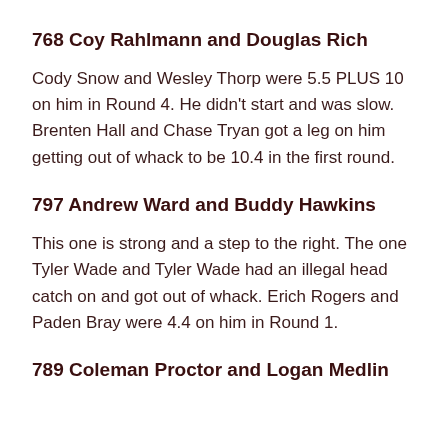768 Coy Rahlmann and Douglas Rich
Cody Snow and Wesley Thorp were 5.5 PLUS 10 on him in Round 4. He didn't start and was slow. Brenten Hall and Chase Tryan got a leg on him getting out of whack to be 10.4 in the first round.
797 Andrew Ward and Buddy Hawkins
This one is strong and a step to the right. The one Tyler Wade and Tyler Wade had an illegal head catch on and got out of whack. Erich Rogers and Paden Bray were 4.4 on him in Round 1.
789 Coleman Proctor and Logan Medlin